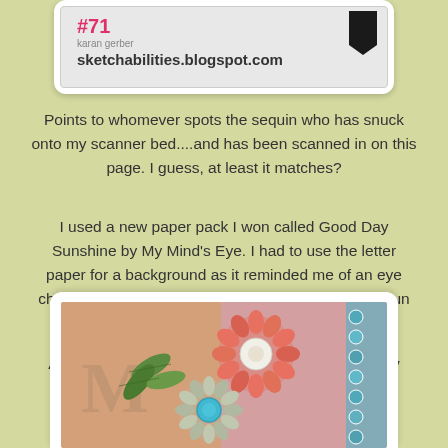[Figure (screenshot): Card showing pink hash/number symbol, author 'karan gerber', URL 'sketchabilities.blogspot.com', with a black bookmark shape on the right, on a light gray background, inside a white rounded card.]
Points to whomever spots the sequin who has snuck onto my scanner bed....and has been scanned in on this page. I guess, at least it matches?
I used a new paper pack I won called Good Day Sunshine by My Mind's Eye. I had to use the letter paper for a background as it reminded me of an eye chart. Loved the cloud paper and the punched out sun that came with it.
And how can you go wrong with a nice fancy dancy accordion bloom. They are so much fun.
[Figure (photo): Close-up photo of paper craft accordion blooms/rosettes. Shows a large coral/pink rosette, a gray/silver rosette with a turquoise button center, and green paper leaves, on a patterned scrapbook paper background with coral and teal colors.]